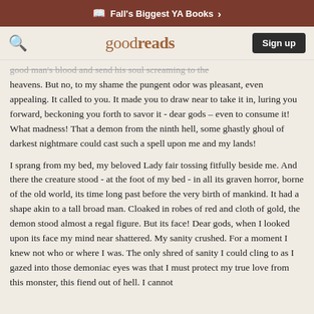Fall's Biggest YA Books
goodreads  Sign up
good man's blood and send his soul screaming to the heavens. But no, to my shame the pungent odor was pleasant, even appealing. It called to you. It made you to draw near to take it in, luring you forward, beckoning you forth to savor it - dear gods – even to consume it! What madness! That a demon from the ninth hell, some ghastly ghoul of darkest nightmare could cast such a spell upon me and my lands!
I sprang from my bed, my beloved Lady fair tossing fitfully beside me. And there the creature stood - at the foot of my bed - in all its graven horror, borne of the old world, its time long past before the very birth of mankind. It had a shape akin to a tall broad man. Cloaked in robes of red and cloth of gold, the demon stood almost a regal figure. But its face! Dear gods, when I looked upon its face my mind near shattered. My sanity crushed. For a moment I knew not who or where I was. The only shred of sanity I could cling to as I gazed into those demoniac eyes was that I must protect my true love from this monster, this fiend out of hell. I cannot